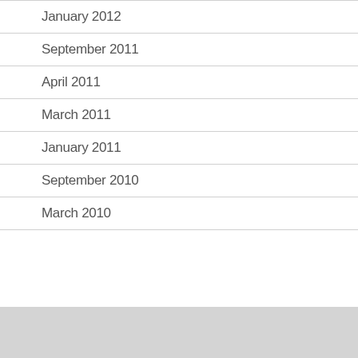January 2012
September 2011
April 2011
March 2011
January 2011
September 2010
March 2010